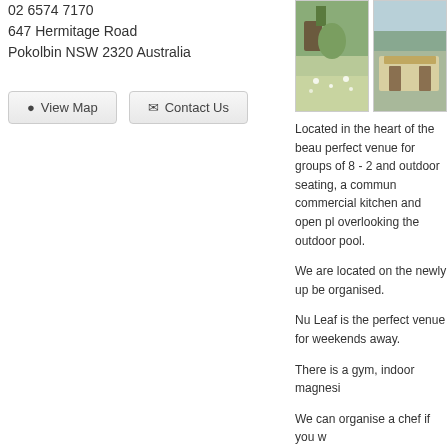02 6574 7170
647 Hermitage Road
Pokolbin NSW 2320 Australia
View Map | Contact Us (buttons)
[Figure (photo): Photo of garden/property with wildflowers in foreground]
[Figure (photo): Photo of property exterior with trees]
Located in the heart of the beau perfect venue for groups of 8 - 2 and outdoor seating, a commun commercial kitchen and open pl overlooking the outdoor pool.
We are located on the newly up be organised.
Nu Leaf is the perfect venue for weekends away.
There is a gym, indoor magnesi
We can organise a chef if you w
Property Features
Non-Smoking Rooms
Fire Place
Air Conditioning